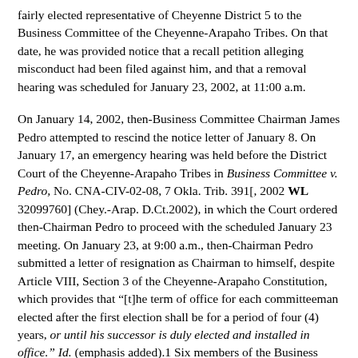fairly elected representative of Cheyenne District 5 to the Business Committee of the Cheyenne-Arapaho Tribes. On that date, he was provided notice that a recall petition alleging misconduct had been filed against him, and that a removal hearing was scheduled for January 23, 2002, at 11:00 a.m.
On January 14, 2002, then-Business Committee Chairman James Pedro attempted to rescind the notice letter of January 8. On January 17, an emergency hearing was held before the District Court of the Cheyenne-Arapaho Tribes in Business Committee v. Pedro, No. CNA-CIV-02-08, 7 Okla. Trib. 391[, 2002 WL 32099760] (Chey.-Arap. D.Ct.2002), in which the Court ordered then-Chairman Pedro to proceed with the scheduled January 23 meeting. On January 23, at 9:00 a.m., then-Chairman Pedro submitted a letter of resignation as Chairman to himself, despite Article VIII, Section 3 of the Cheyenne-Arapaho Constitution, which provides that "[t]he term of office for each committeeman elected after the first election shall be for a period of four (4) years, or until his successor is duly elected and installed in office." Id. (emphasis added).1 Six members of the Business